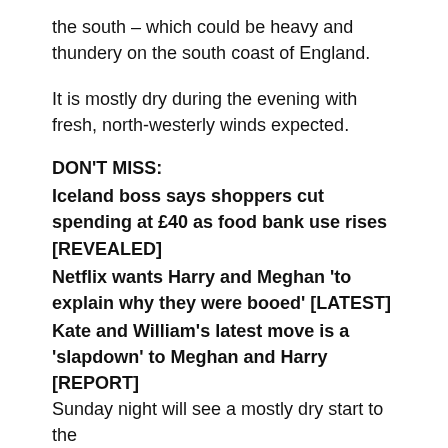the south – which could be heavy and thundery on the south coast of England.
It is mostly dry during the evening with fresh, north-westerly winds expected.
DON'T MISS:
Iceland boss says shoppers cut spending at £40 as food bank use rises [REVEALED]
Netflix wants Harry and Meghan 'to explain why they were booed' [LATEST]
Kate and William's latest move is a 'slapdown' to Meghan and Harry [REPORT]
Sunday night will see a mostly dry start to the